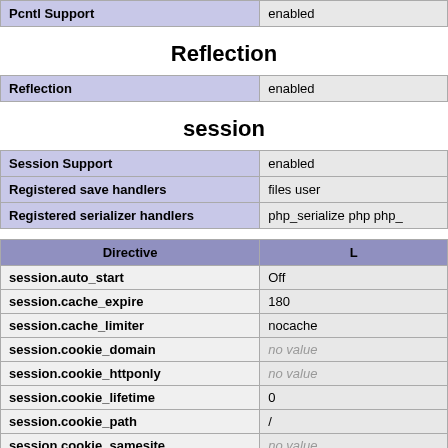| Pcntl Support |  |
| --- | --- |
| Pcntl Support | enabled |
Reflection
| Reflection | enabled |
| --- | --- |
| Reflection | enabled |
session
| Session Support | enabled |
| --- | --- |
| Session Support | enabled |
| Registered save handlers | files user |
| Registered serializer handlers | php_serialize php php_ |
| Directive | L |
| --- | --- |
| session.auto_start | Off |
| session.cache_expire | 180 |
| session.cache_limiter | nocache |
| session.cookie_domain | no value |
| session.cookie_httponly | no value |
| session.cookie_lifetime | 0 |
| session.cookie_path | / |
| session.cookie_samesite | no value |